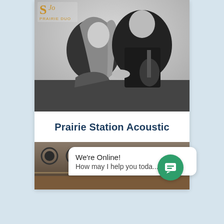[Figure (photo): Black and white photo of a man and woman sitting close together, facing each other. The woman has long blonde hair and is wearing a dark sparkly top. The man is wearing a dark t-shirt and appears to be holding a guitar. There is a logo in the upper left corner with the text 'Prairie Duo'.]
Prairie Station Acoustic
[Figure (photo): Partial photo of what appears to be a bar or venue interior with circular light fixtures on the ceiling.]
We're Online!
How may I help you toda...